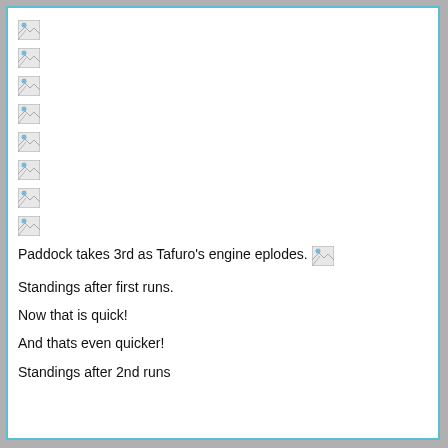[Figure (other): Broken image placeholder 1]
[Figure (other): Broken image placeholder 2]
[Figure (other): Broken image placeholder 3]
[Figure (other): Broken image placeholder 4]
[Figure (other): Broken image placeholder 5]
[Figure (other): Broken image placeholder 6]
[Figure (other): Broken image placeholder 7]
[Figure (other): Broken image placeholder 8]
Paddock takes 3rd as Tafuro's engine eplodes.
[Figure (other): Broken image placeholder 9]
Standings after first runs.
Now that is quick!
And thats even quicker!
Standings after 2nd runs